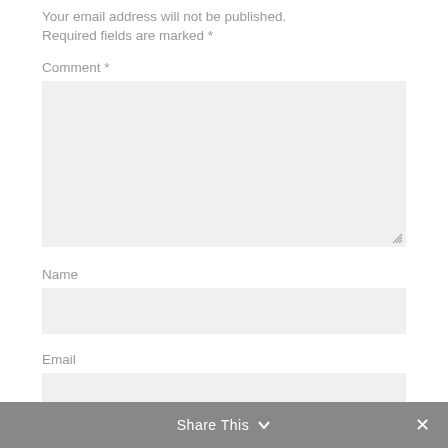Your email address will not be published. Required fields are marked *
Comment *
[Figure (screenshot): Large comment textarea input box with gray background and resize handle in bottom-right corner]
Name
[Figure (screenshot): Name text input box with gray background]
Email
[Figure (screenshot): Email text input box with gray background]
Website
Share This ∨  ✕